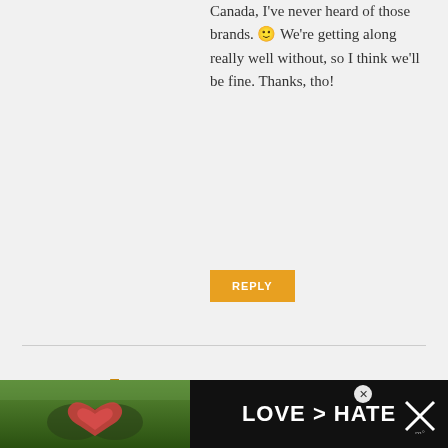Canada, I've never heard of those brands. 🙂 We're getting along really well without, so I think we'll be fine. Thanks, tho!
REPLY
Tammy says
OCTOBER 10, 2012 AT 1:17 PM
Thanks for your answer. 🙂 I went to the fridge and looked at my sour cream. I buy sour cream on such rare occasions, that it really is unusual that it's in my fridge. BUT I read the
[Figure (photo): Advertisement banner at bottom showing hands making a heart shape against a green background, with text 'LOVE > HATE' in white on dark background, and close buttons]